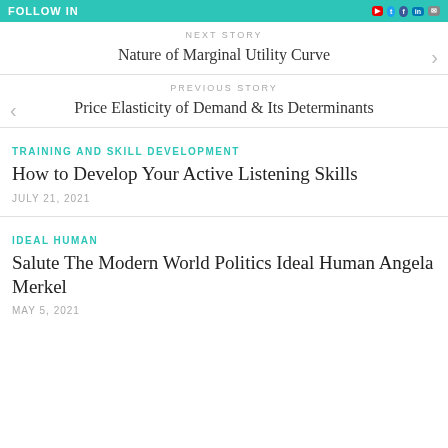FOLLOW IN | social icons: YouTube, Twitter, Facebook, LinkedIn, Email
NEXT STORY
Nature of Marginal Utility Curve
PREVIOUS STORY
Price Elasticity of Demand & Its Determinants
TRAINING AND SKILL DEVELOPMENT
How to Develop Your Active Listening Skills
JULY 21, 2021
IDEAL HUMAN
Salute The Modern World Politics Ideal Human Angela Merkel
MAY 5, 2021